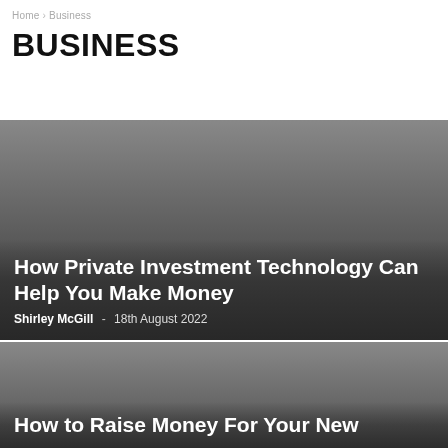Home › Business
BUSINESS
[Figure (photo): Dark grey gradient image background for article card about private investment technology]
How Private Investment Technology Can Help You Make Money
Shirley McGill  -  18th August 2022
[Figure (photo): Dark grey gradient image background for article card about raising money]
How to Raise Money For Your New